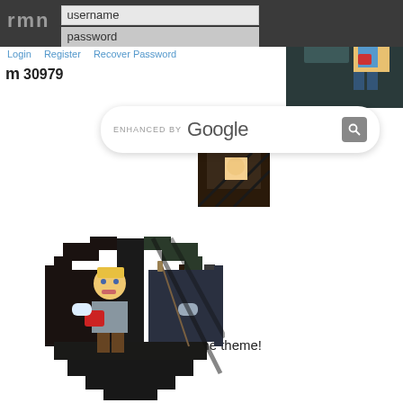rmn — username / password login form with Google search bar overlay
Login   Register   Recover Password
m 30979
[Figure (screenshot): ENHANCED BY Google search box with magnifier icon]
[Figure (illustration): Small pixel-art heart icon with cupid character]
Aaaaaand keeping with the theme!
[Figure (illustration): Large pixel-art heart shape containing cupid character holding a red heart, on dark background]